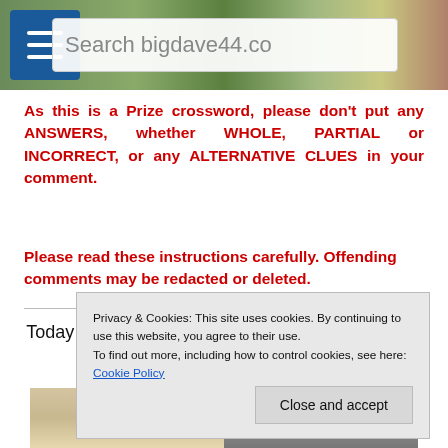bigdave44.co [search bar and menu]
As this is a Prize crossword, please don’t put any ANSWERS, whether WHOLE, PARTIAL or INCORRECT, or any ALTERNATIVE CLUES in your comment.
Please read these instructions carefully. Offending comments may be redacted or deleted.
Today it’s Happy Birthday to Bette Midler (68) and Woody Allen (78)
[Figure (photo): Two portrait photos side by side (Bette Midler and Woody Allen)]
Privacy & Cookies: This site uses cookies. By continuing to use this website, you agree to their use. To find out more, including how to control cookies, see here: Cookie Policy
Close and accept